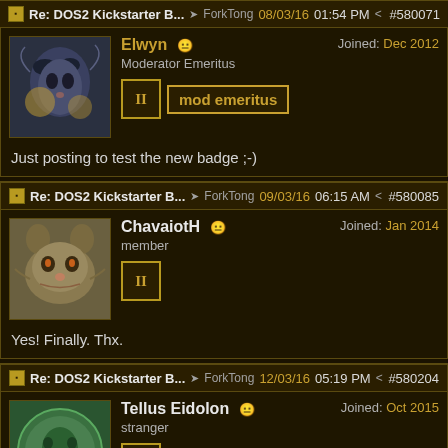Re: DOS2 Kickstarter B... ForkTong 08/03/16 01:54 PM #580071
Elwyn — Moderator Emeritus — Joined: Dec 2012 — mod emeritus badge
Just posting to test the new badge ;-)
Re: DOS2 Kickstarter B... ForkTong 09/03/16 06:15 AM #580085
ChavaiotH — member — Joined: Jan 2014
Yes! Finally. Thx.
Re: DOS2 Kickstarter B... ForkTong 12/03/16 05:19 PM #580204
Tellus Eidolon — stranger — Joined: Oct 2015